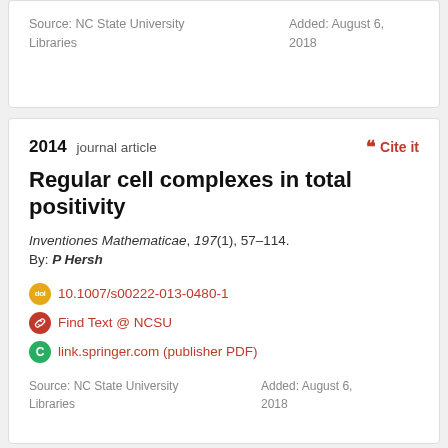Source: NC State University Libraries
Added: August 6, 2018
2014 journal article
Cite it
Regular cell complexes in total positivity
Inventiones Mathematicae, 197(1), 57–114.
By: P Hersh
10.1007/s00222-013-0480-1
Find Text @ NCSU
link.springer.com (publisher PDF)
Source: NC State University Libraries
Added: August 6, 2018